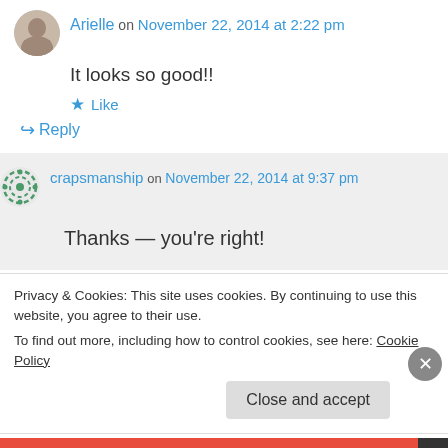Arielle on November 22, 2014 at 2:22 pm
It looks so good!!
★ Like
↪ Reply
crapsmanship on November 22, 2014 at 9:37 pm
Thanks — you're right!
Privacy & Cookies: This site uses cookies. By continuing to use this website, you agree to their use.
To find out more, including how to control cookies, see here: Cookie Policy
Close and accept